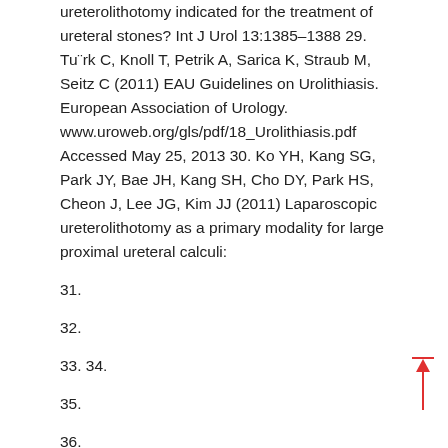ureterolithotomy indicated for the treatment of ureteral stones? Int J Urol 13:1385–1388 29. Tu¨rk C, Knoll T, Petrik A, Sarica K, Straub M, Seitz C (2011) EAU Guidelines on Urolithiasis. European Association of Urology. www.uroweb.org/gls/pdf/18_Urolithiasis.pdf Accessed May 25, 2013 30. Ko YH, Kang SG, Park JY, Bae JH, Kang SH, Cho DY, Park HS, Cheon J, Lee JG, Kim JJ (2011) Laparoscopic ureterolithotomy as a primary modality for large proximal ureteral calculi:
31.
32.
33. 34.
35.
36.
37.
38. 39.